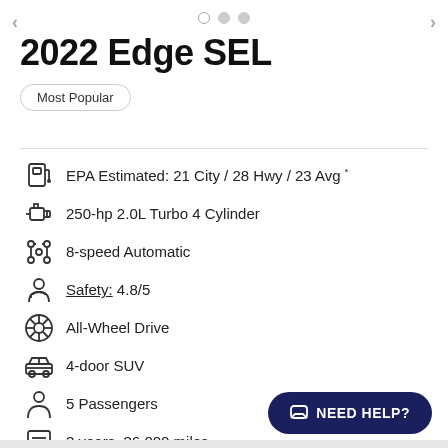[Figure (screenshot): Navigation arrows and carousel dots at top]
2022 Edge SEL
Most Popular
EPA Estimated: 21 City / 28 Hwy / 23 Avg *
250-hp 2.0L Turbo 4 Cylinder
8-speed Automatic
Safety: 4.8/5
All-Wheel Drive
4-door SUV
5 Passengers
3 years, 36,000 miles
NEED HELP?